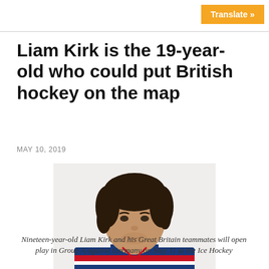Translate »
Liam Kirk is the 19-year-old who could put British hockey on the map
MAY 10, 2019
[Figure (photo): Portrait photo of Liam Kirk, a young man with curly dark hair wearing a blue, red and white ice hockey jersey for Great Britain]
Nineteen-year-old Liam Kirk and his Great Britain teammates will open play in Group A against Germany on May 11 at the Ice Hockey